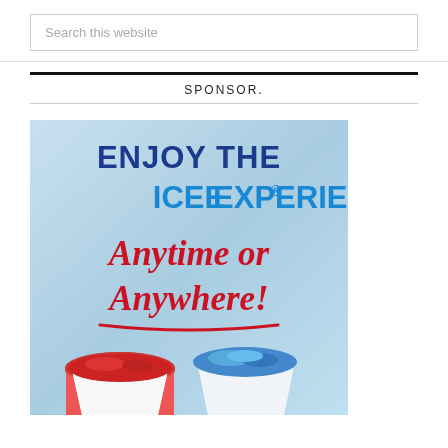Search this website
SPONSOR.
[Figure (illustration): ICEE advertisement banner showing 'ENJOY THE ICEE® EXPERIENCE Anytime or Anywhere!' with two frozen drink cups on an icy blue background]